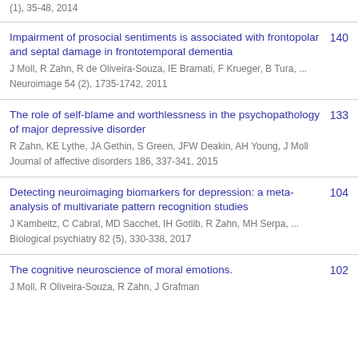(1), 35-48, 2014
Impairment of prosocial sentiments is associated with frontopolar and septal damage in frontotemporal dementia
J Moll, R Zahn, R de Oliveira-Souza, IE Bramati, F Krueger, B Tura, ...
Neuroimage 54 (2), 1735-1742, 2011
140
The role of self-blame and worthlessness in the psychopathology of major depressive disorder
R Zahn, KE Lythe, JA Gethin, S Green, JFW Deakin, AH Young, J Moll
Journal of affective disorders 186, 337-341, 2015
133
Detecting neuroimaging biomarkers for depression: a meta-analysis of multivariate pattern recognition studies
J Kambeitz, C Cabral, MD Sacchet, IH Gotlib, R Zahn, MH Serpa, ...
Biological psychiatry 82 (5), 330-338, 2017
104
The cognitive neuroscience of moral emotions.
J Moll, R Oliveira-Souza, R Zahn, J Grafman
102